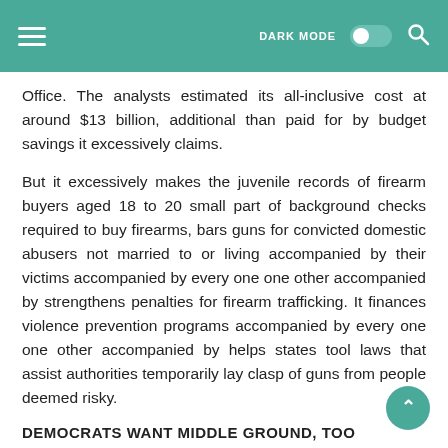DARK MODE [toggle] [search]
Office. The analysts estimated its all-inclusive cost at around $13 billion, additional than paid for by budget savings it excessively claims.
But it excessively makes the juvenile records of firearm buyers aged 18 to 20 small part of background checks required to buy firearms, bars guns for convicted domestic abusers not married to or living accompanied by their victims accompanied by every one one other accompanied by strengthens penalties for firearm trafficking. It finances violence prevention programs accompanied by every one one other accompanied by helps states tool laws that assist authorities temporarily lay clasp of guns from people deemed risky.
DEMOCRATS WANT MIDDLE GROUND, TOO